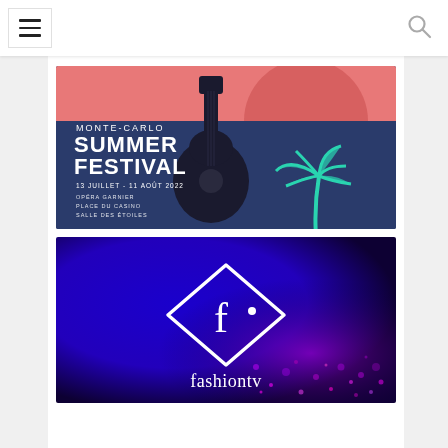[Figure (screenshot): Navigation bar with hamburger menu icon on the left and search icon on the right, white background]
[Figure (illustration): Monte-Carlo Summer Festival promotional banner. Dark navy blue and pink/coral background with silhouette of a guitar and palm tree. Text reads: MONTE-CARLO SUMMER FESTIVAL, 13 JUILLET - 11 AOÛT 2022, OPÉRA GARNIER, PLACE DU CASINO, SALLE DES ÉTOILES]
[Figure (logo): FashionTV logo on deep blue to purple gradient background with sparkling bokeh effect. Diamond-shaped logo with letter f inside, text 'fashiontv' below in white serif font]